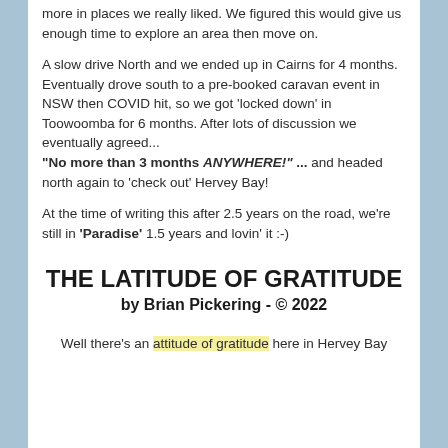more  in places we really liked. We figured this would give us enough time to explore an area then move on.
A slow drive North and we ended up in Cairns for 4 months. Eventually drove south to a pre-booked caravan event in NSW then COVID hit, so we got 'locked down' in Toowoomba for 6 months. After lots of discussion we eventually agreed... "No more than 3 months ANYWHERE!" ... and headed  north again to 'check out' Hervey Bay!
At the time of writing this after 2.5 years on the road, we're still in 'Paradise' 1.5 years and lovin' it :-)
THE LATITUDE OF GRATITUDE
by Brian Pickering - © 2022
Well there's an attitude of gratitude here in Hervey Bay